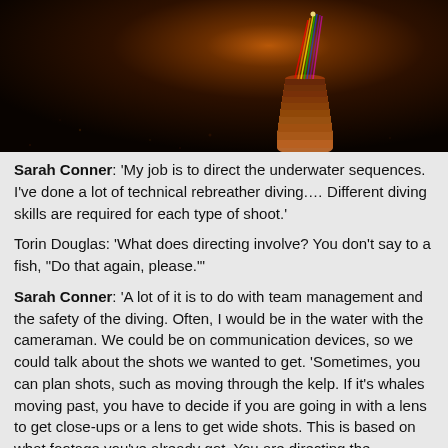[Figure (photo): Dark underwater/macro photo of a colorful stacked spiral object (possibly coins or shells) with rainbow light refractions, against a dark textured background.]
Sarah Conner: 'My job is to direct the underwater sequences. I've done a lot of technical rebreather diving.... Different diving skills are required for each type of shoot.'
Torin Douglas: 'What does directing involve? You don't say to a fish, "Do that again, please."'
Sarah Conner: 'A lot of it is to do with team management and the safety of the diving. Often, I would be in the water with the cameraman. We could be on communication devices, so we could talk about the shots we wanted to get. 'Sometimes, you can plan shots, such as moving through the kelp. If it's whales moving past, you have to decide if you are going in with a lens to get close-ups or a lens to get wide shots. This is based on what footage you've already got. You are directing the cameraman rather than the fish.'